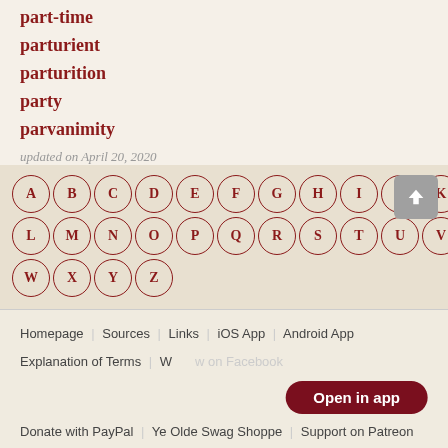part-time
parturient
parturition
party
parvanimity
updated on April 20, 2020
[Figure (other): Alphabet navigation buttons A-Z arranged in rows with circles, and a scroll-to-top button]
Homepage | Sources | Links | iOS App | Android App | Explanation of Terms | W... on Facebook | Donate with PayPal | Ye Olde Swag Shoppe | Support on Patreon
Open in app